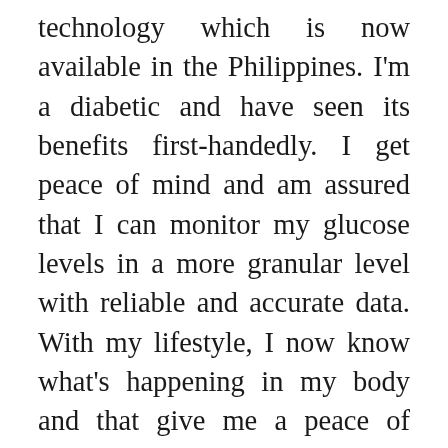technology which is now available in the Philippines. I'm a diabetic and have seen its benefits first-handedly. I get peace of mind and am assured that I can monitor my glucose levels in a more granular level with reliable and accurate data. With my lifestyle, I now know what's happening in my body and that give me a peace of mind, it's priceless!